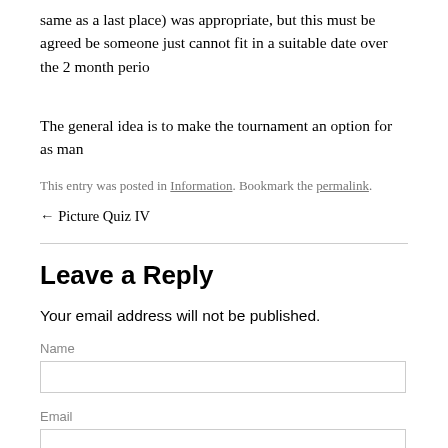same as a last place) was appropriate, but this must be agreed be... someone just cannot fit in a suitable date over the 2 month perio...
The general idea is to make the tournament an option for as man...
This entry was posted in Information. Bookmark the permalink.
← Picture Quiz IV
Leave a Reply
Your email address will not be published.
Name
Email